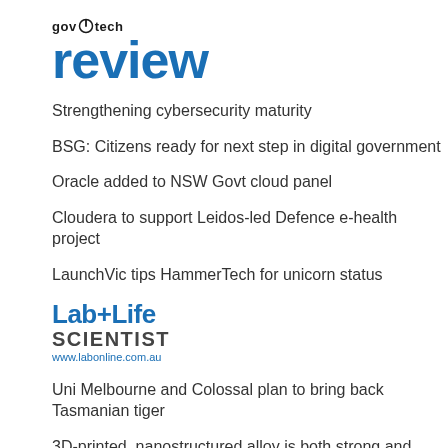[Figure (logo): GovTech Review logo with power button icon and large blue 'review' wordmark]
Strengthening cybersecurity maturity
BSG: Citizens ready for next step in digital government
Oracle added to NSW Govt cloud panel
Cloudera to support Leidos-led Defence e-health project
LaunchVic tips HammerTech for unicorn status
[Figure (logo): Lab+Life Scientist logo with blue text and www.labonline.com.au URL]
Uni Melbourne and Colossal plan to bring back Tasmanian tiger
3D-printed, nanostructured alloy is both strong and ductile